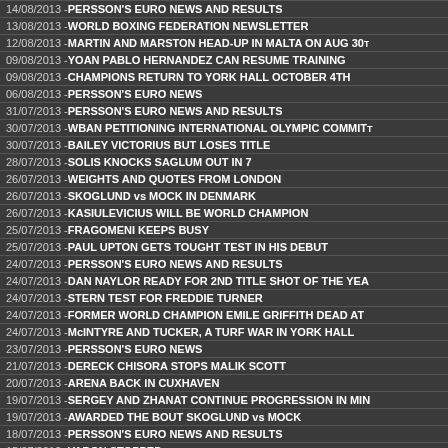14/08/2013 - PERSSON'S EURO NEWS AND RESULTS
13/08/2013 - WORLD BOXING FEDERATION NEWSLETTER
12/08/2013 - MARTIN AND MARSTON HEAD-UP IN MALTA ON AUG 30
09/08/2013 - YOAN PABLO HERNANDEZ CAN RESUME TRAINING
09/08/2013 - CHAMPIONS RETURN TO YORK HALL OCTOBER 4TH
06/08/2013 - PERSSON'S EURO NEWS
31/07/2013 - PERSSON'S EURO NEWS AND RESULTS
30/07/2013 - WBAN PETITIONING INTERNATIONAL OLYMPIC COMMITT
30/07/2013 - BAILEY VICTORIUS BUT LOSES TITLE
28/07/2013 - SOLIS KNOCKS SAGLUM OUT IN 7
26/07/2013 - WEIGHTS AND QUOTES FROM LONDON
26/07/2013 - SKOGLUND vs MOCK IN DENMARK
26/07/2013 - KASIULEVICIUS WILL BE WORLD CHAMPION
25/07/2013 - FRAGOMENI KEEPS BUSY
25/07/2013 - PAUL UPTON GETS TOUGHT TEST IN HIS DEBUT
24/07/2013 - PERSSON'S EURO NEWS AND RESULTS
24/07/2013 - DAN NAYLOR READY FOR 2ND TITLE SHOT OF THE YEA
24/07/2013 - STERN TEST FOR FREDDIE TURNER
24/07/2013 - FORMER WORLD CHAMPION EMILE GRIFFITH DEAD AT
24/07/2013 - McINTYRE AND TUCKER, A TURF WAR IN YORK HALL
23/07/2013 - PERSSON'S EURO NEWS
21/07/2013 - DERECK CHISORA STOPS MALIK SCOTT
20/07/2013 - ARENA BACK IN CUXHAVEN
19/07/2013 - SERGEY AND ZHANAT CONTINUE PROGRESSION IN MIN
19/07/2013 - AWARDED THE BOUT SKOGLUND vs MOCK
18/07/2013 - PERSSON'S EURO NEWS AND RESULTS
15/07/2013 - VARON STOPPED